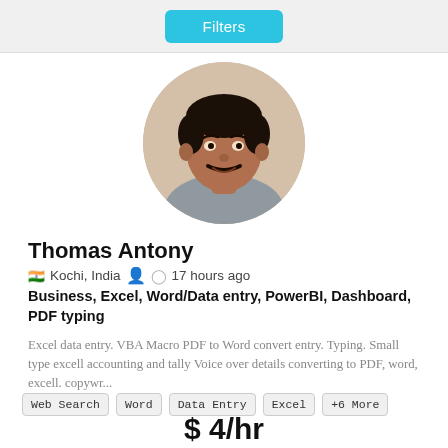Filters
[Figure (photo): Circular profile photo of Thomas Antony, a man with dark hair and mustache wearing a gray shirt]
Thomas Antony
🇮🇳 Kochi, India  👤  🕐 17 hours ago
Business, Excel, Word/Data entry, PowerBI, Dashboard, PDF typing
Excel data entry. VBA Macro PDF to Word convert entry. Typing. Small type excell accounting and tally Voice over details converting to PDF, word, excell. copywr...
Web Search
Word
Data Entry
Excel
+6 More
$ 4/hr